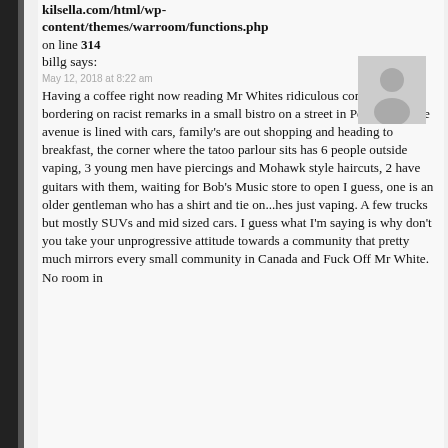kilsella.com/html/wp-content/themes/warroom/functions.php on line 314
billg says:
May 12, 2018 at 8:22 am
[Figure (illustration): Generic user avatar placeholder silhouette on grey background]
Having a coffee right now reading Mr Whites ridiculous comments and bordering on racist remarks in a small bistro on a street in Pembroke. The avenue is lined with cars, family's are out shopping and heading to breakfast, the corner where the tatoo parlour sits has 6 people outside vaping, 3 young men have piercings and Mohawk style haircuts, 2 have guitars with them, waiting for Bob's Music store to open I guess, one is an older gentleman who has a shirt and tie on...hes just vaping. A few trucks but mostly SUVs and mid sized cars. I guess what I'm saying is why don't you take your unprogressive attitude towards a community that pretty much mirrors every small community in Canada and Fuck Off Mr White. No room in